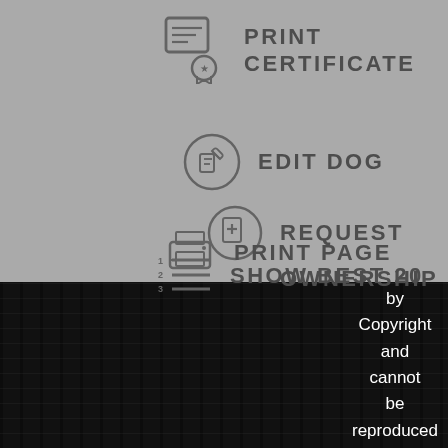[Figure (screenshot): Application menu overlay on gray background showing options: Print Certificate, Edit Dog, Request Ownership, Print Page, Show Best 20 — each with an icon]
PRINT CERTIFICATE
EDIT DOG
REQUEST OWNERSHIP
PRINT PAGE
SHOW BEST 20
Copyright and cannot be reproduced by any means, in whole